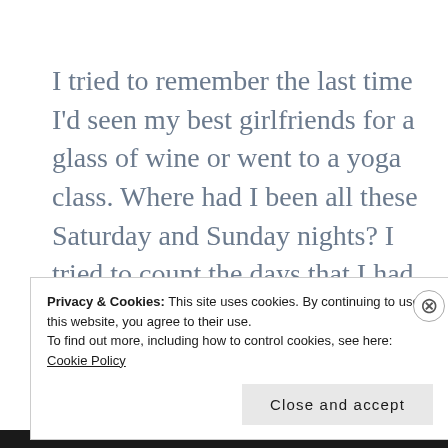I tried to remember the last time I'd seen my best girlfriends for a glass of wine or went to a yoga class. Where had I been all these Saturday and Sunday nights? I tried to count the days that I had come to think of myself as “missing”.  I had fallen asleep, dreaming only of algebra equations and grammatically correct sentences for
Privacy & Cookies: This site uses cookies. By continuing to use this website, you agree to their use.
To find out more, including how to control cookies, see here:
Cookie Policy
Close and accept